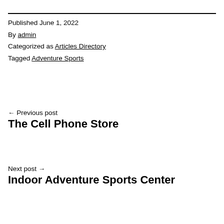Published June 1, 2022
By admin
Categorized as Articles Directory
Tagged Adventure Sports
← Previous post
The Cell Phone Store
Next post →
Indoor Adventure Sports Center